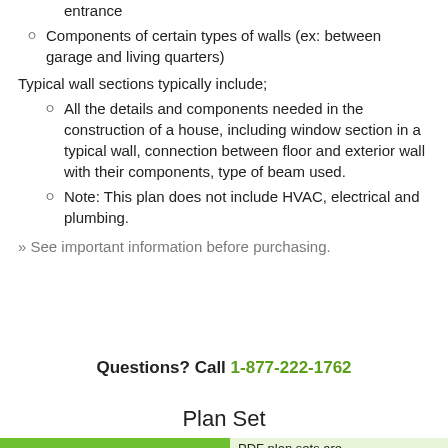entrance
Components of certain types of walls (ex: between garage and living quarters)
Typical wall sections typically include;
All the details and components needed in the construction of a house, including window section in a typical wall, connection between floor and exterior wall with their components, type of beam used.
Note: This plan does not include HVAC, electrical and plumbing.
» See important information before purchasing.
Questions? Call 1-877-222-1762
Plan Set
|  | PDF plan sets are |
| --- | --- |